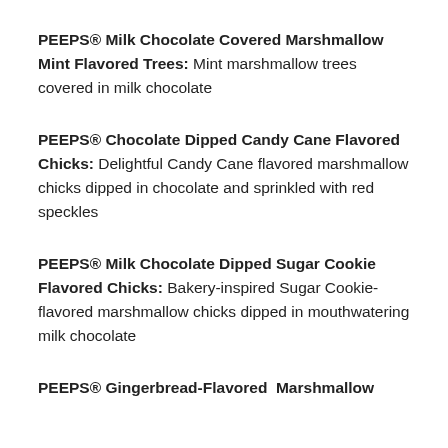PEEPS® Milk Chocolate Covered Marshmallow Mint Flavored Trees: Mint marshmallow trees covered in milk chocolate
PEEPS® Chocolate Dipped Candy Cane Flavored Chicks: Delightful Candy Cane flavored marshmallow chicks dipped in chocolate and sprinkled with red speckles
PEEPS® Milk Chocolate Dipped Sugar Cookie Flavored Chicks: Bakery-inspired Sugar Cookie-flavored marshmallow chicks dipped in mouthwatering milk chocolate
PEEPS® Gingerbread-Flavored Marshmallow